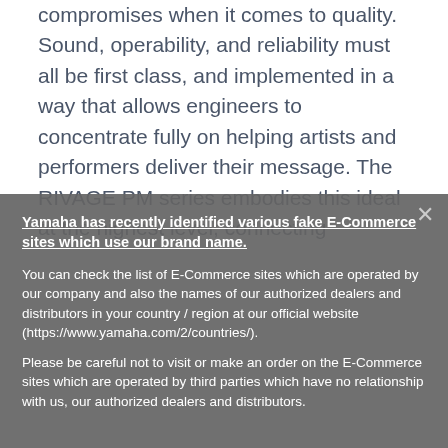compromises when it comes to quality. Sound, operability, and reliability must all be first class, and implemented in a way that allows engineers to concentrate fully on helping artists and performers deliver their message. The RIVAGE PM series embodies this ideal at the highest level, connecting
Yamaha has recently identified various fake E-Commerce sites which use our brand name.
You can check the list of E-Commerce sites which are operated by our company and also the names of our authorized dealers and distributors in your country / region at our official website (https://www.yamaha.com/2/countries/).
Please be careful not to visit or make an order on the E-Commerce sites which are operated by third parties which have no relationship with us, our authorized dealers and distributors.